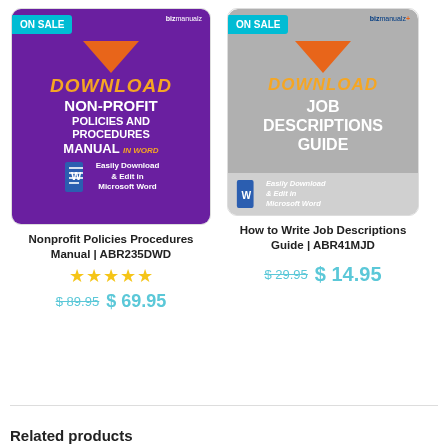[Figure (illustration): Book cover for Nonprofit Policies Procedures Manual ABR235DWD - purple background with orange arrow, DOWNLOAD text in orange italic, NON-PROFIT POLICIES AND PROCEDURES MANUAL in white, with Word document icon and 'Easily Download & Edit in Microsoft Word', ON SALE badge top left, bizmanualz logo top right]
Nonprofit Policies Procedures Manual | ABR235DWD
[Figure (illustration): Star rating: 5 gold stars]
$ 89.95  $ 69.95
[Figure (illustration): Book cover for How to Write Job Descriptions Guide ABR41MJD - gray background with orange arrow, DOWNLOAD text in orange italic, JOB DESCRIPTIONS GUIDE in white, with Word document icon and 'Easily Download & Edit in Microsoft Word', ON SALE badge top left, bizmanualz logo top right]
How to Write Job Descriptions Guide | ABR41MJD
$ 29.95  $ 14.95
Related products